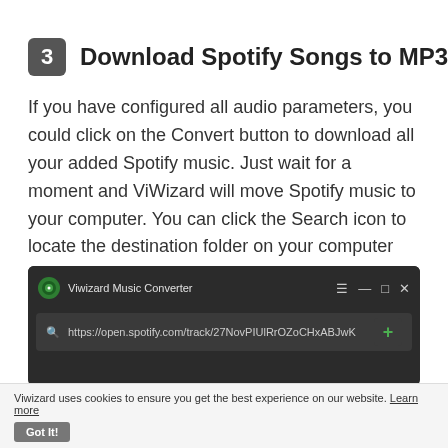3 Download Spotify Songs to MP3
If you have configured all audio parameters, you could click on the Convert button to download all your added Spotify music. Just wait for a moment and ViWizard will move Spotify music to your computer. You can click the Search icon to locate the destination folder on your computer and check all converted music files.
[Figure (screenshot): ViWizard Music Converter application window showing title bar with app name and controls, and address bar with Spotify URL https://open.spotify.com/track/27NovPIUlRrOZoCHxABJwK]
Viwizard uses cookies to ensure you get the best experience on our website. Learn more Got It!